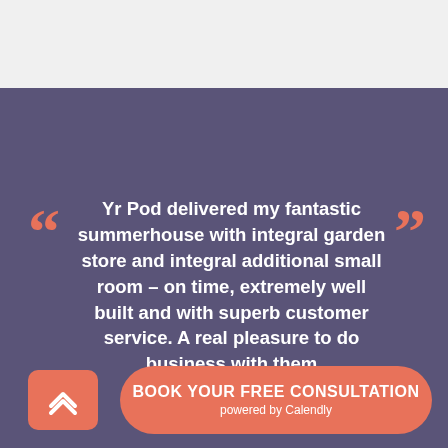“”
Yr Pod delivered my fantastic summerhouse with integral garden store and integral additional small room – on time, extremely well built and with superb customer service. A real pleasure to do business with them
VIV – BISHOPS STORTFORD
BOOK YOUR FREE CONSULTATION powered by Calendly